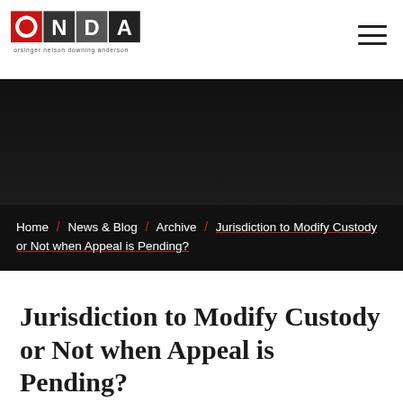[Figure (logo): ONDA law firm logo — Orsinger Nelson Downing Anderson]
Home / News & Blog / Archive / Jurisdiction to Modify Custody or Not when Appeal is Pending?
Jurisdiction to Modify Custody or Not when Appeal is Pending?
September 7, 2015 | Archive, Blog, Brad M.